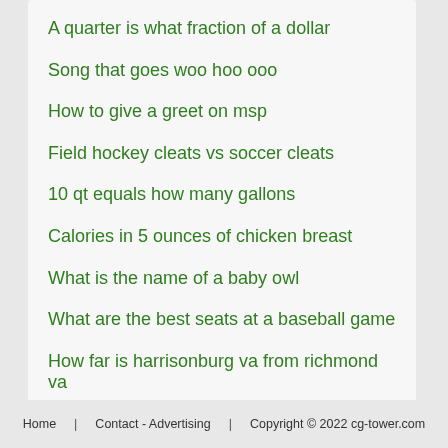A quarter is what fraction of a dollar
Song that goes woo hoo ooo
How to give a greet on msp
Field hockey cleats vs soccer cleats
10 qt equals how many gallons
Calories in 5 ounces of chicken breast
What is the name of a baby owl
What are the best seats at a baseball game
How far is harrisonburg va from richmond va
Home   Contact - Advertising   Copyright © 2022 cg-tower.com